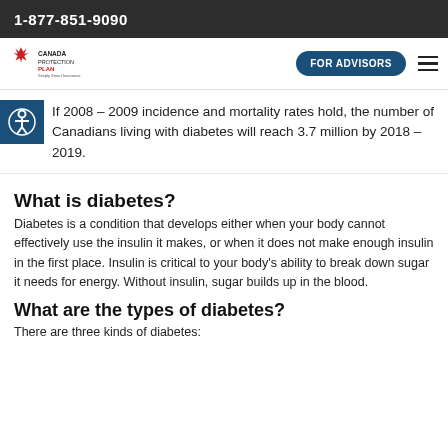1-877-851-9090
[Figure (logo): Canada Protection Plan logo with red bird/maple leaf icon and navigation bar with FOR ADVISORS button and hamburger menu]
If 2008 – 2009 incidence and mortality rates hold, the number of Canadians living with diabetes will reach 3.7 million by 2018 – 2019.
What is diabetes?
Diabetes is a condition that develops either when your body cannot effectively use the insulin it makes, or when it does not make enough insulin in the first place. Insulin is critical to your body's ability to break down sugar it needs for energy. Without insulin, sugar builds up in the blood.
What are the types of diabetes?
There are three kinds of diabetes: